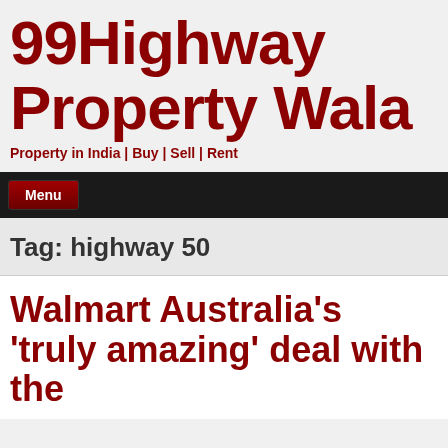99Highway Property Wala
Property in India | Buy | Sell | Rent
Menu
Tag: highway 50
Walmart Australia's 'truly amazing' deal with the